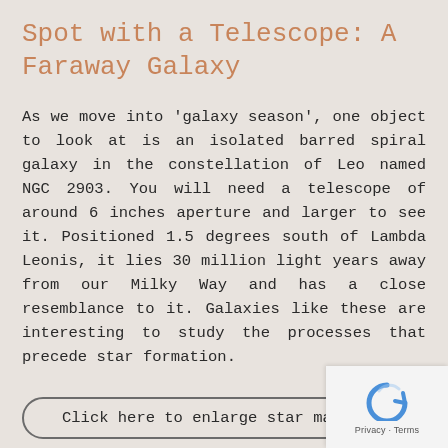Spot with a Telescope: A Faraway Galaxy
As we move into 'galaxy season', one object to look at is an isolated barred spiral galaxy in the constellation of Leo named NGC 2903. You will need a telescope of around 6 inches aperture and larger to see it. Positioned 1.5 degrees south of Lambda Leonis, it lies 30 million light years away from our Milky Way and has a close resemblance to it. Galaxies like these are interesting to study the processes that precede star formation.
Click here to enlarge star map
[Figure (logo): reCAPTCHA logo with Privacy and Terms text]